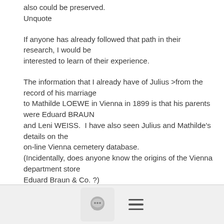also could be preserved.
Unquote
If anyone has already followed that path in their research, I would be
interested to learn of their experience.
The information that I already have of Julius >from the record of his marriage
to Mathilde LOEWE in Vienna in 1899 is that his parents were Eduard BRAUN
and Leni WEISS.  I have also seen Julius and Mathilde's details on the
on-line Vienna cemetery database.
(Incidentally, does anyone know the origins of the Vienna department store
Eduard Braun & Co. ?)
regards
[Figure (screenshot): Mobile navigation footer bar with a chat/speech bubble icon button and a hamburger menu icon]